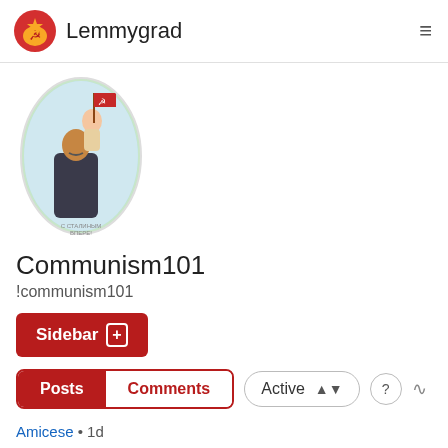Lemmygrad
[Figure (illustration): Soviet propaganda poster showing a man holding a child with a red flag in an oval frame]
Communism101
!communism101
Sidebar +
Posts  Comments  Active
Amicese • 1d
What is the Juche ideology?
11 Comments  21